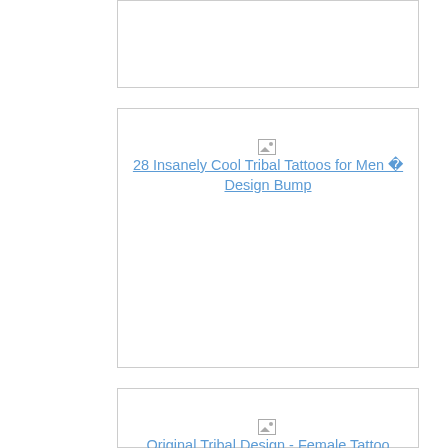[Figure (other): Card with empty image placeholder at top of page]
[Figure (other): Card with broken image link: 28 Insanely Cool Tribal Tattoos for Men Design Bump]
[Figure (other): Card with broken image link: Original Tribal Design - Female Tattoo Designs]